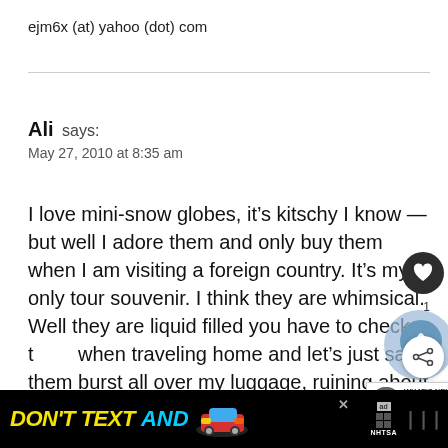ejm6x (at) yahoo (dot) com
Ali says:
May 27, 2010 at 8:35 am
I love mini-snow globes, it’s kitschy I know — but well I adore them and only buy them when I am visiting a foreign country. It’s my only tour souvenir. I think they are whimsical. Well they are liquid filled you have to check them when traveling home and let’s just say them burst all over my luggage, ruining about
[Figure (screenshot): Ad banner reading DON'T TEXT AND with a red car and NHTSA logo]
[Figure (screenshot): Overlay UI elements: heart button, share button, count badge 1, and What's Next promotion for Travel Gear Tuesday]